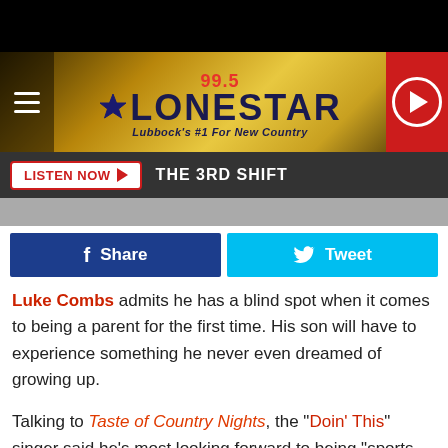[Figure (screenshot): 99.5 Lonestar radio station banner with hamburger menu, golden bokeh background, and red play button circle]
LISTEN NOW ► THE 3RD SHIFT
Share   Tweet
Luke Combs admits he has a blind spot when it comes to being a parent for the first time. His son will have to experience something he never even dreamed of growing up.
Talking to Taste of Country Nights, the "Doin' This" singer said he's most looking forward to being "sports dad," but wants a well-rounded individual more than anything. In January, Combs and wife Nicole announced that a baby boy is coming this spring. They've kept a lid on the baby's